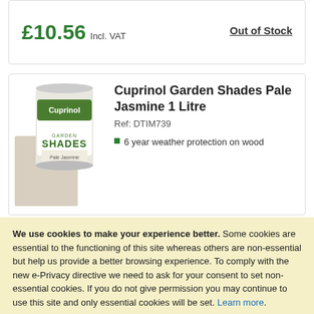£10.56 Incl. VAT
Out of Stock
[Figure (photo): Cuprinol Garden Shades Pale Jasmine 1 Litre paint tin]
Cuprinol Garden Shades Pale Jasmine 1 Litre
Ref: DTIM739
6 year weather protection on wood
We use cookies to make your experience better. Some cookies are essential to the functioning of this site whereas others are non-essential but help us provide a better browsing experience. To comply with the new e-Privacy directive we need to ask for your consent to set non-essential cookies. If you do not give permission you may continue to use this site and only essential cookies will be set. Learn more.
ALLOW ALL COOKIES